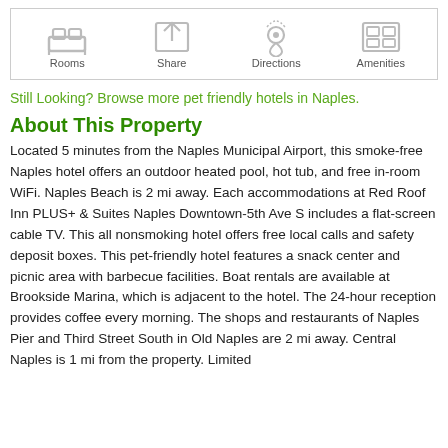[Figure (infographic): Icon bar with four icons: Rooms, Share, Directions, Amenities]
Still Looking? Browse more pet friendly hotels in Naples.
About This Property
Located 5 minutes from the Naples Municipal Airport, this smoke-free Naples hotel offers an outdoor heated pool, hot tub, and free in-room WiFi. Naples Beach is 2 mi away. Each accommodations at Red Roof Inn PLUS+ &amp; Suites Naples Downtown-5th Ave S includes a flat-screen cable TV. This all nonsmoking hotel offers free local calls and safety deposit boxes. This pet-friendly hotel features a snack center and picnic area with barbecue facilities. Boat rentals are available at Brookside Marina, which is adjacent to the hotel. The 24-hour reception provides coffee every morning. The shops and restaurants of Naples Pier and Third Street South in Old Naples are 2 mi away. Central Naples is 1 mi from the property. Limited